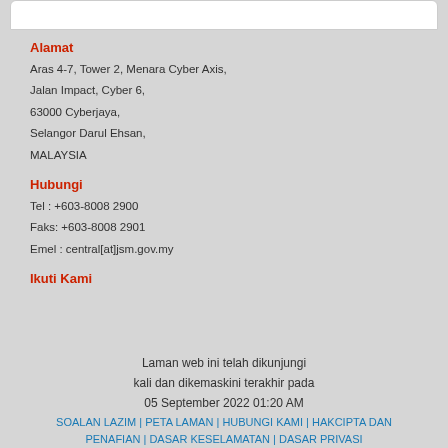Alamat
Aras 4-7, Tower 2, Menara Cyber Axis,
Jalan Impact, Cyber 6,
63000 Cyberjaya,
Selangor Darul Ehsan,
MALAYSIA
Hubungi
Tel : +603-8008 2900
Faks: +603-8008 2901
Emel : central[at]jsm.gov.my
Ikuti Kami
Laman web ini telah dikunjungi kali dan dikemaskini terakhir pada 05 September 2022 01:20 AM
SOALAN LAZIM | PETA LAMAN | HUBUNGI KAMI | HAKCIPTA DAN PENAFIAN | DASAR KESELAMATAN | DASAR PRIVASI
Hakcipta 2014 @ Jabatan Standard Malaysia (Standards Malaysia). Sesuai dipapar